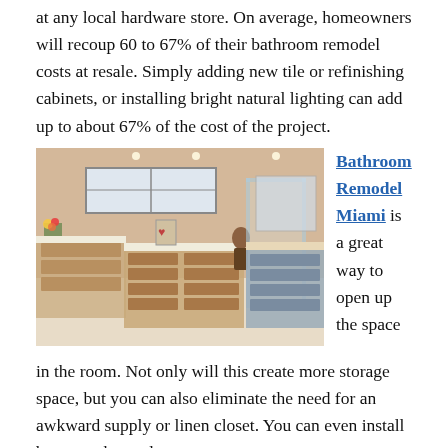at any local hardware store. On average, homeowners will recoup 60 to 67% of their bathroom remodel costs at resale. Simply adding new tile or refinishing cabinets, or installing bright natural lighting can add up to about 67% of the cost of the project.
[Figure (photo): Interior photo of a modern bathroom remodel showing glass shower enclosure, light wood cabinetry with multiple drawers, marble countertops, and windows with natural light.]
Bathroom Remodel Miami is a great way to open up the space in the room. Not only will this create more storage space, but you can also eliminate the need for an awkward supply or linen closet. You can even install between the studs